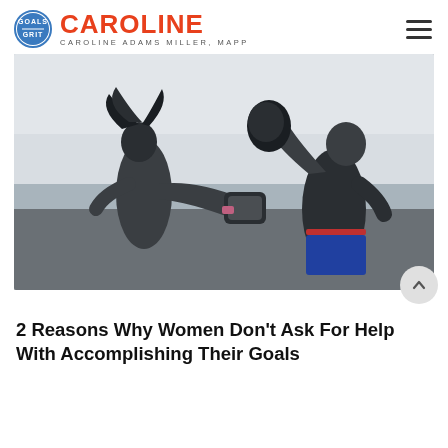CAROLINE — CAROLINE ADAMS MILLER, MAPP
[Figure (photo): A woman and a man boxing outdoors near a body of water. The woman has long dark hair and is wearing a gray tank top with boxing pads on her hands. The man is shirtless, wearing blue and red shorts, and has large black boxing gloves raised toward the woman.]
2 Reasons Why Women Don't Ask For Help With Accomplishing Their Goals